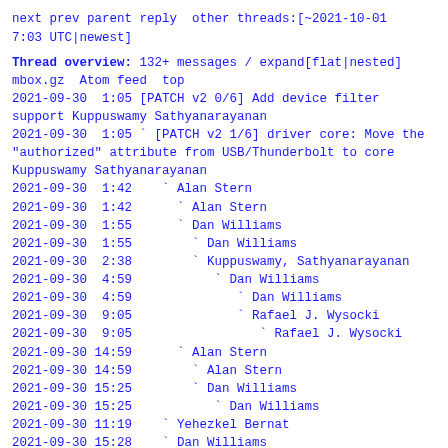next prev parent reply  other threads:[~2021-10-01 7:03 UTC|newest]
Thread overview: 132+ messages / expand[flat|nested]
mbox.gz  Atom feed  top
2021-09-30  1:05 [PATCH v2 0/6] Add device filter support Kuppuswamy Sathyanarayanan
2021-09-30  1:05 ` [PATCH v2 1/6] driver core: Move the "authorized" attribute from USB/Thunderbolt to core Kuppuswamy Sathyanarayanan
2021-09-30  1:42   ` Alan Stern
2021-09-30  1:42     ` Alan Stern
2021-09-30  1:55     ` Dan Williams
2021-09-30  1:55       ` Dan Williams
2021-09-30  2:38       ` Kuppuswamy, Sathyanarayanan
2021-09-30  4:59         ` Dan Williams
2021-09-30  4:59           ` Dan Williams
2021-09-30  9:05           ` Rafael J. Wysocki
2021-09-30  9:05             ` Rafael J. Wysocki
2021-09-30 14:59     ` Alan Stern
2021-09-30 14:59       ` Alan Stern
2021-09-30 15:25       ` Dan Williams
2021-09-30 15:25         ` Dan Williams
2021-09-30 11:19   ` Yehezkel Bernat
2021-09-30 15:28   ` Dan Williams
2021-09-30 15:28     ` Dan Williams
2021-09-30 18:25     ` Yehezkel Bernat
2021-09-30 19:04     ` Dan Williams
2021-09-30 19:04       ` Dan Williams